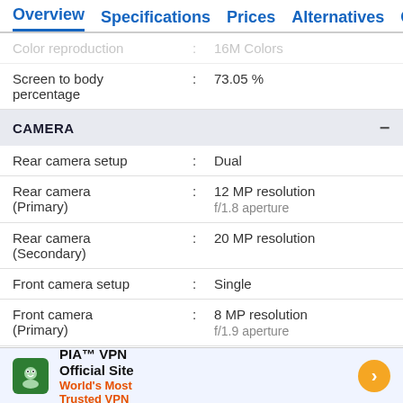Overview  Specifications  Prices  Alternatives  Compar
Color reproduction : 16M Colors
Screen to body percentage : 73.05 %
CAMERA
Rear camera setup : Dual
Rear camera (Primary) : 12 MP resolution f/1.8 aperture
Rear camera (Secondary) : 20 MP resolution
Front camera setup : Single
Front camera (Primary) : 8 MP resolution f/1.9 aperture
[Figure (other): PIA VPN advertisement banner: 'PIA™ VPN Official Site - World's Most Trusted VPN' with green mascot icon and orange arrow button]